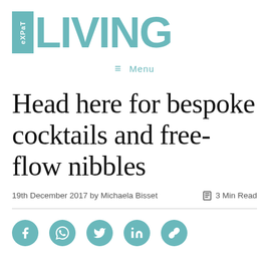[Figure (logo): Expat Living logo — teal box with 'expat' in white vertical text beside large teal 'LIVING' text]
≡ Menu
Head here for bespoke cocktails and free-flow nibbles
19th December 2017 by Michaela Bisset    🕮 3 Min Read
[Figure (illustration): Social sharing icons: Facebook, WhatsApp, Twitter, LinkedIn, Link — teal circles with white icons]